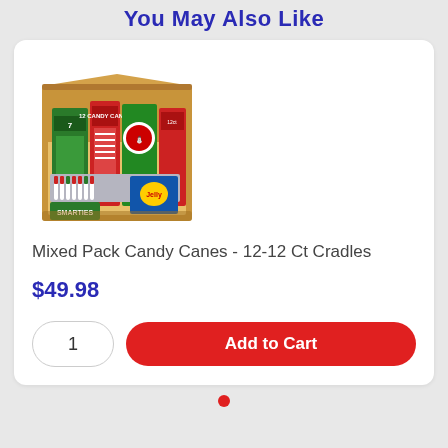You May Also Like
[Figure (photo): Open cardboard box containing multiple packages of mixed candy canes including green, red, and blue packages with various candy cane brands]
Mixed Pack Candy Canes - 12-12 Ct Cradles
$49.98
1
Add to Cart